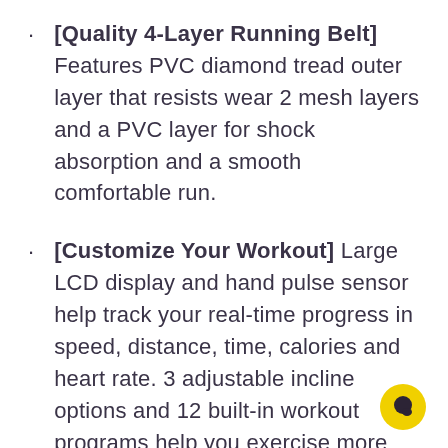· [Quality 4-Layer Running Belt] Features PVC diamond tread outer layer that resists wear 2 mesh layers and a PVC layer for shock absorption and a smooth comfortable run.
· [Customize Your Workout] Large LCD display and hand pulse sensor help track your real-time progress in speed, distance, time, calories and heart rate. 3 adjustable incline options and 12 built-in workout programs help you exercise more efficiently.